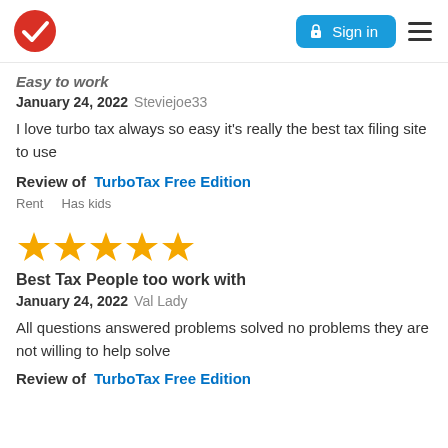TurboTax logo | Sign in | Menu
Easy to work
January 24, 2022 Steviejoe33
I love turbo tax always so easy it's really the best tax filing site to use
Review of  TurboTax Free Edition
Rent   Has kids
[Figure (other): 5 gold stars rating]
Best Tax People too work with
January 24, 2022 Val Lady
All questions answered problems solved no problems they are not willing to help solve
Review of  TurboTax Free Edition